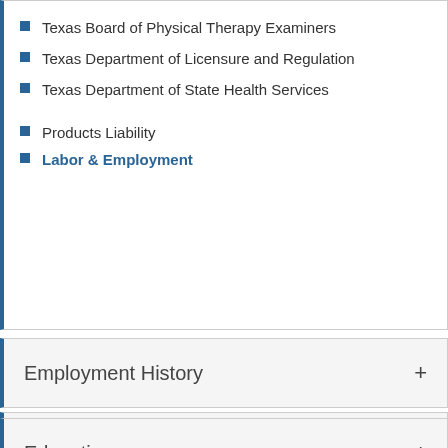Texas Board of Physical Therapy Examiners
Texas Department of Licensure and Regulation
Texas Department of State Health Services
Products Liability
Labor & Employment
Employment History
Education
Bar and Court Admissions